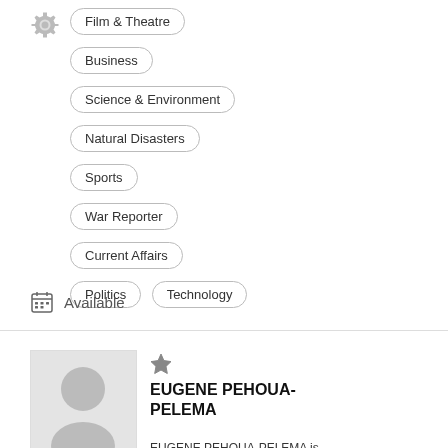Film & Theatre
Business
Science & Environment
Natural Disasters
Sports
War Reporter
Current Affairs
Politics
Technology
Available
[Figure (illustration): Placeholder person silhouette avatar photo]
EUGENE PEHOUA-PELEMA
EUGENE PEHOUA-PELEMA is